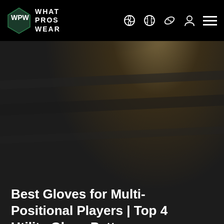WHAT PROS WEAR — navigation bar with logo and sport icons
[Figure (photo): Close-up dark photo of a baseball bat or glove with dark background, used as hero image]
Best Gloves for Multi-Positional Players | Top 4 Utility Glove Patterns
[Figure (photo): New York Mets baseball player in blue pinstripe uniform making a peace sign gesture, wearing sunglasses and a fielding glove]
GET SWAG UPDATES
New 🔔 + Weekly Top 3 in your inbox.
name@example.com
Subscribe
Feel free to opt out or contact us at any time